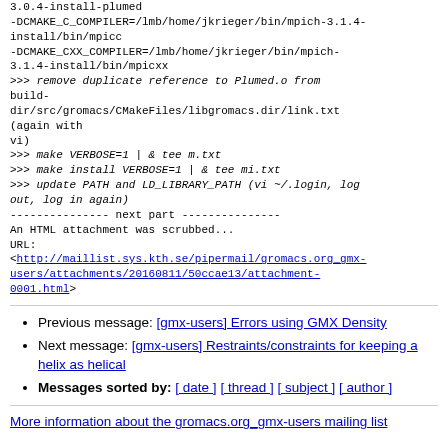3.0.4-install-plumed -DCMAKE_C_COMPILER=/lmb/home/jkrieger/bin/mpich-3.1.4-install/bin/mpicc -DCMAKE_CXX_COMPILER=/lmb/home/jkrieger/bin/mpich-3.1.4-install/bin/mpicxx >>> remove duplicate reference to Plumed.o from build-dir/src/gromacs/CMakeFiles/libgromacs.dir/link.txt (again with vi) >>> make VERBOSE=1 | & tee m.txt >>> make install VERBOSE=1 | & tee mi.txt >>> update PATH and LD_LIBRARY_PATH (vi ~/.login, log out, log in again) --------------- next part --------------- An HTML attachment was scrubbed... URL: <http://maillist.sys.kth.se/pipermail/gromacs.org_gmx-users/attachments/20160811/50ccae13/attachment-0001.html>
Previous message: [gmx-users] Errors using GMX Density
Next message: [gmx-users] Restraints/constraints for keeping a helix as helical
Messages sorted by: [ date ] [ thread ] [ subject ] [ author ]
More information about the gromacs.org_gmx-users mailing list